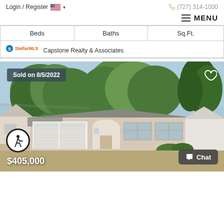Login / Register  🇺🇸 ▾  (727) 314-1000
≡ MENU
| Beds | Baths | Sq.Ft. |
| --- | --- | --- |
StellarMLS  Capstone Realty & Associates
[Figure (photo): Exterior photo of a single-story ranch-style home with two-car garage, arched entry, beige/pink stucco exterior, and trees in background. Sold on 8/5/2022. Price: $405,000.]